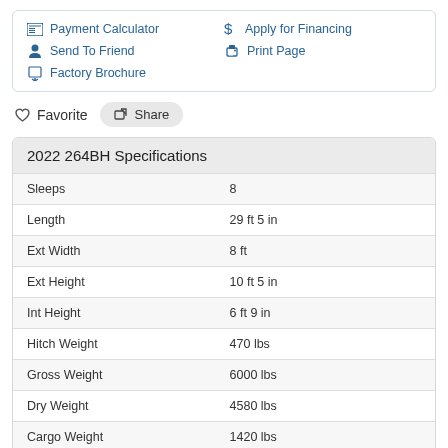Payment Calculator
Apply for Financing
Send To Friend
Print Page
Factory Brochure
Favorite   Share
2022 264BH Specifications
|  |  |
| --- | --- |
| Sleeps | 8 |
| Length | 29 ft 5 in |
| Ext Width | 8 ft |
| Ext Height | 10 ft 5 in |
| Int Height | 6 ft 9 in |
| Hitch Weight | 470 lbs |
| Gross Weight | 6000 lbs |
| Dry Weight | 4580 lbs |
| Cargo Weight | 1420 lbs |
| Fresh Water Capacity | 42 gals |